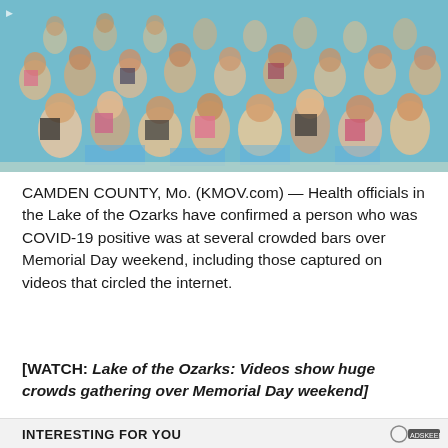[Figure (photo): Aerial or overhead view of a large crowded pool/bar area with many people in the water, taken from above, pool appears aqua/teal color]
CAMDEN COUNTY, Mo. (KMOV.com) — Health officials in the Lake of the Ozarks have confirmed a person who was COVID-19 positive was at several crowded bars over Memorial Day weekend, including those captured on videos that circled the internet.
[WATCH: Lake of the Ozarks: Videos show huge crowds gathering over Memorial Day weekend]
INTERESTING FOR YOU
[Figure (photo): Two side-by-side photos of people, left appears to be a man in a white setting, right appears to be someone in sports/athletic gear]